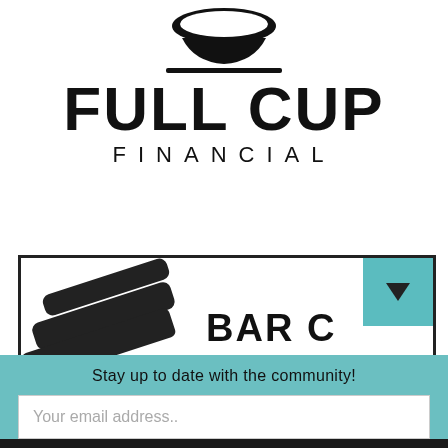[Figure (logo): Full Cup Financial logo: stylized cup/bowl shape with a horizontal line below it, above the text FULL CUP in large bold black capitals and FINANCIAL in spaced capitals below]
[Figure (screenshot): Partial view of a bar chart or publication header with diagonal bar/graph icon on left and text BAR C... cut off on right, with teal square dropdown indicator in top-right corner]
Stay up to date with the community!
Your email address..
Subscribe